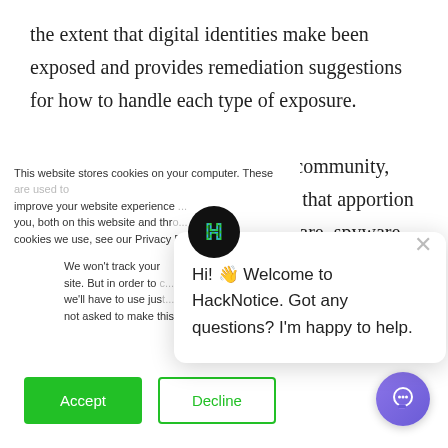the extent that digital identities make been exposed and provides remediation suggestions for how to handle each type of exposure.
HackNotice monitors the hacker community, which is a network of individuals that apportion data breaches, hacks, leaks, malware, spyware, ransomware, and many other tools that are often used for financial
This website stores cookies on your computer. These are used to improve your website experience you, both on this website and through cookies we use, see our Privacy P...
We won't track your site. But in order to we'll have to use just not asked to make this choice again.
[Figure (other): Cookie consent dialog with Accept (green) and Decline (outlined) buttons]
[Figure (other): HackNotice chat popup with logo and greeting: Hi! Welcome to HackNotice. Got any questions? I'm happy to help.]
[Figure (other): Purple chat bubble widget in bottom right corner]